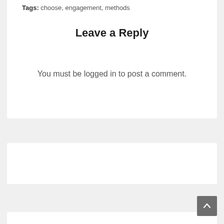Tags: choose, engagement, methods
Leave a Reply
You must be logged in to post a comment.